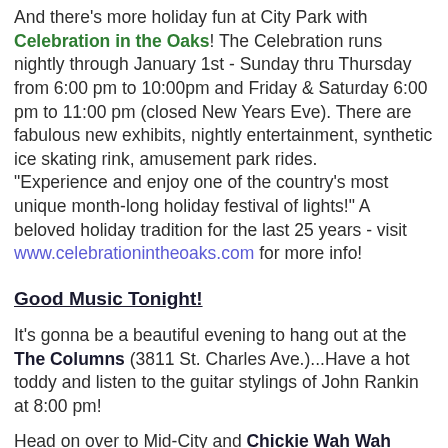And there's more holiday fun at City Park with Celebration in the Oaks! The Celebration runs nightly through January 1st - Sunday thru Thursday from 6:00 pm to 10:00pm and Friday & Saturday 6:00 pm to 11:00 pm (closed New Years Eve). There are fabulous new exhibits, nightly entertainment, synthetic ice skating rink, amusement park rides. "Experience and enjoy one of the country's most unique month-long holiday festival of lights!" A beloved holiday tradition for the last 25 years - visit www.celebrationintheoaks.com for more info!
Good Music Tonight!
It's gonna be a beautiful evening to hang out at the The Columns (3811 St. Charles Ave.)...Have a hot toddy and listen to the guitar stylings of John Rankin at 8:00 pm!
Head on over to Mid-City and Chickie Wah Wah (2828 Canal) - For a rare treat about 8ish it's Anders Osborne, John Fohl and Johnny Sansonne - it's a great way to top off your last Tuesday in 2011!
Finishing up, Frenchmen and there are at least 40...